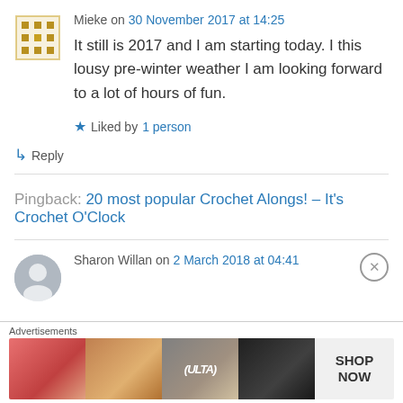Mieke on 30 November 2017 at 14:25
It still is 2017 and I am starting today. I this lousy pre-winter weather I am looking forward to a lot of hours of fun.
Liked by 1 person
↳ Reply
Pingback: 20 most popular Crochet Alongs! – It's Crochet O'Clock
Sharon Willan on 2 March 2018 at 04:41
Advertisements